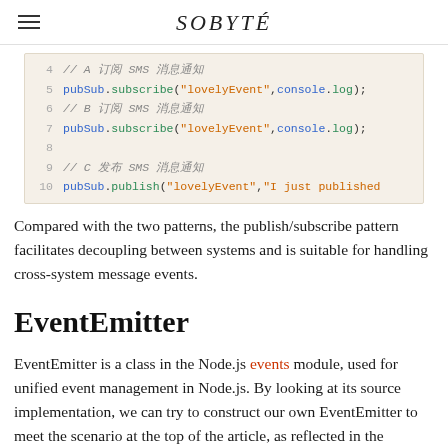SOBYTE
[Figure (screenshot): Code block showing lines 4-10 of JavaScript pub/sub code with subscribe and publish calls]
Compared with the two patterns, the publish/subscribe pattern facilitates decoupling between systems and is suitable for handling cross-system message events.
EventEmitter
EventEmitter is a class in the Node.js events module, used for unified event management in Node.js. By looking at its source implementation, we can try to construct our own EventEmitter to meet the scenario at the top of the article, as reflected in the following